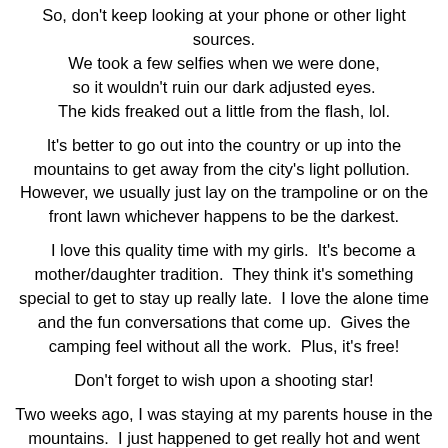So, don't keep looking at your phone or other light sources. We took a few selfies when we were done, so it wouldn't ruin our dark adjusted eyes. The kids freaked out a little from the flash, lol.
It's better to go out into the country or up into the mountains to get away from the city's light pollution. However, we usually just lay on the trampoline or on the front lawn whichever happens to be the darkest.
I love this quality time with my girls. It's become a mother/daughter tradition. They think it's something special to get to stay up really late. I love the alone time and the fun conversations that come up. Gives the camping feel without all the work. Plus, it's free!
Don't forget to wish upon a shooting star!
Two weeks ago, I was staying at my parents house in the mountains. I just happened to get really hot and went outside to cool off around 4:30 am, and immediately saw a meteor cross the sky from the tail end of the Delta Aquarids.